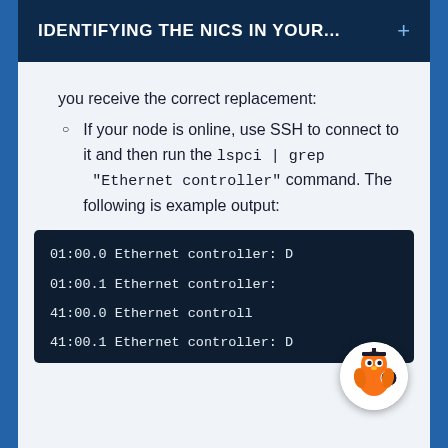IDENTIFYING THE NICs IN YOUR... +
you receive the correct replacement:
If your node is online, use SSH to connect to it and then run the lspci | grep "Ethernet controller" command. The following is example output:
01:00.0 Ethernet controller: D
01:00.1 Ethernet controller: D
41:00.0 Ethernet controller: D
41:00.1 Ethernet controller: D
[Figure (other): Owl mascot icon in bottom right corner]